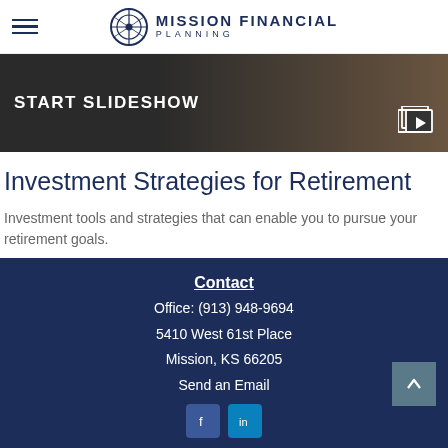Mission Financial Planning
[Figure (screenshot): Dark banner with text START SLIDESHOW and a slideshow icon on the right]
Investment Strategies for Retirement
Investment tools and strategies that can enable you to pursue your retirement goals.
Contact
Office: (913) 948-9694
5410 West 61st Place
Mission, KS 66205
Send an Email